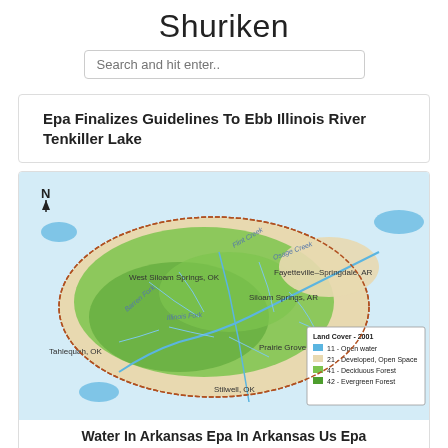Shuriken
Search and hit enter..
Epa Finalizes Guidelines To Ebb Illinois River Tenkiller Lake
[Figure (map): Land cover map of the Illinois River watershed spanning Oklahoma and Arkansas, showing cities including West Siloam Springs OK, Fayetteville-Springdale AR, Siloam Springs AR, Prairie Grove AR, Tahlequah OK, Stilwell OK. Legend shows Land Cover 2001: 11 Open water (blue), 21 Developed Open Space (tan), 41 Deciduous Forest (light green), and Evergreen Forest (dark green).]
Water In Arkansas Epa In Arkansas Us Epa